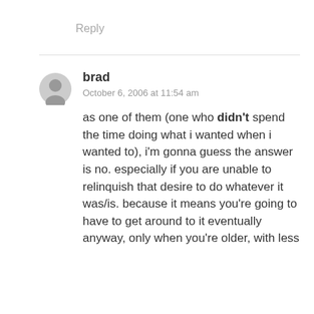Reply
brad
October 6, 2006 at 11:54 am
as one of them (one who didn't spend the time doing what i wanted when i wanted to), i'm gonna guess the answer is no. especially if you are unable to relinquish that desire to do whatever it was/is. because it means you're going to have to get around to it eventually anyway, only when you're older, with less